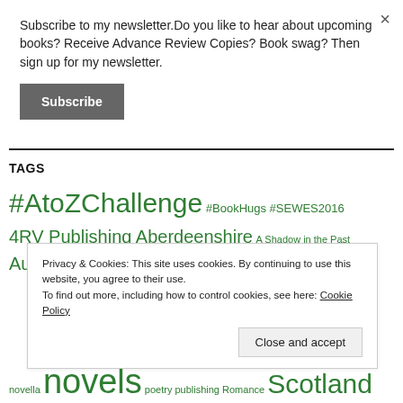×
Subscribe to my newsletter.Do you like to hear about upcoming books? Receive Advance Review Copies? Book swag? Then sign up for my newsletter.
Subscribe
TAGS
#AtoZChallenge #BookHugs #SEWES2016 4RV Publishing Aberdeenshire A Shadow in the Past Author
Privacy & Cookies: This site uses cookies. By continuing to use this website, you agree to their use. To find out more, including how to control cookies, see here: Cookie Policy
Close and accept
novella novels poetry publishing Romance Scotland